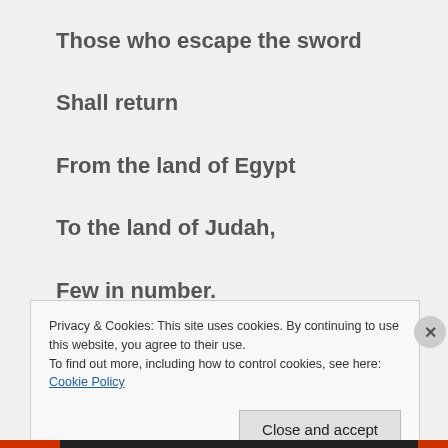Those who escape the sword
Shall return
From the land of Egypt
To the land of Judah,
Few in number.
Privacy & Cookies: This site uses cookies. By continuing to use this website, you agree to their use.
To find out more, including how to control cookies, see here: Cookie Policy